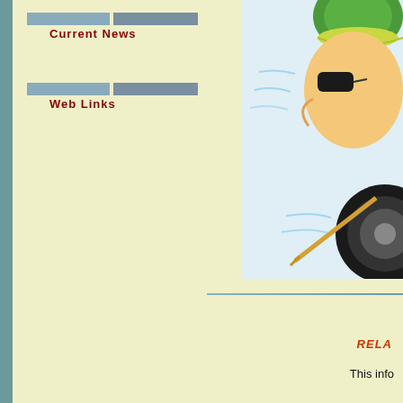Current News
Web Links
[Figure (illustration): Cartoon illustration of a character wearing a helmet, partially visible on the right side of the page, appearing to be in motion with motion lines around them]
RELA
This info